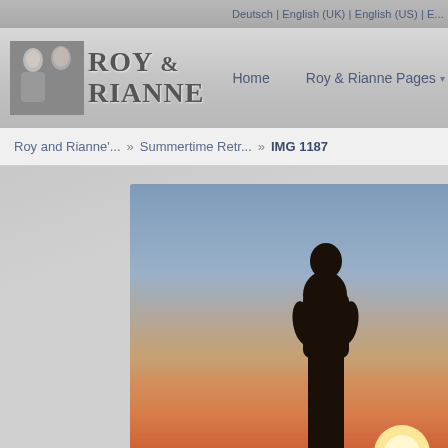Deutsch | English (UK) | English (US) | E...
ROY & RIANNE
Home   Roy & Rianne Pages ▾   Blog ▾   Miscellany
Roy and Rianne'... » Summertime Retr... » IMG 1187
[Figure (photo): Silhouette of a person standing against a vibrant sunset sky, with warm orange and golden tones near the horizon and cool blue-gray tones above. The sun is partially visible at lower right, creating a glowing halo effect.]